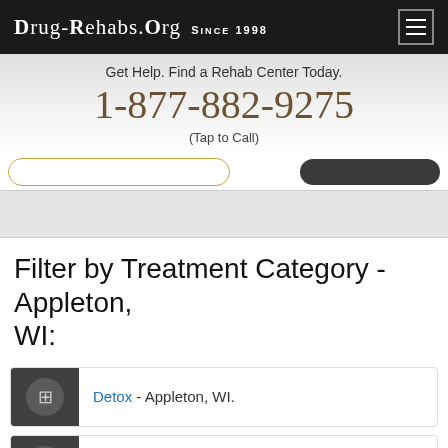Drug-Rehabs.org Since 1998
Get Help. Find a Rehab Center Today.
1-877-882-9275
(Tap to Call)
Filter by Treatment Category - Appleton, WI:
Detox - Appleton, WI.
Outpatient Drug Rehab - Appleton, WI.